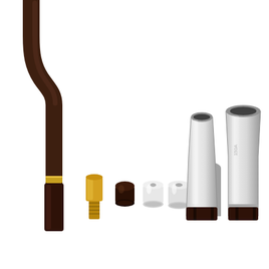[Figure (photo): MIG/MAG welding torch components laid out in a row on a white background. From left to right: a brown/dark curved torch handle/neck, a brass/gold threaded tip adapter, a small dark brown plastic cap/nut, two white ceramic gas diffusers/insulators, two silver/chrome metal gas nozzles (one tapered conical and one cylindrical) each fitted with dark brown plastic retaining clips at the base.]